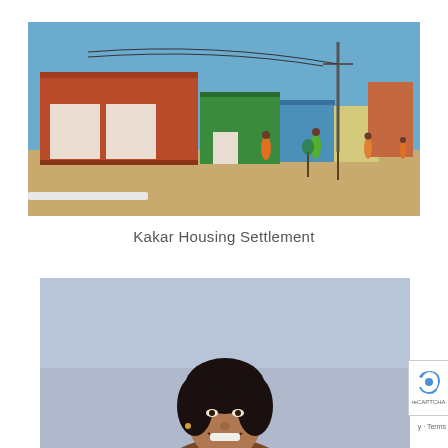[Figure (photo): Kakar Housing Settlement showing colorful single-storey buildings painted red, green, blue and cream, with people walking in front on sandy ground under a clear blue sky.]
Kakar Housing Settlement
[Figure (photo): Portrait photo of a smiling woman with dark hair against a light blue/grey sky background, cropped showing her face and shoulders.]